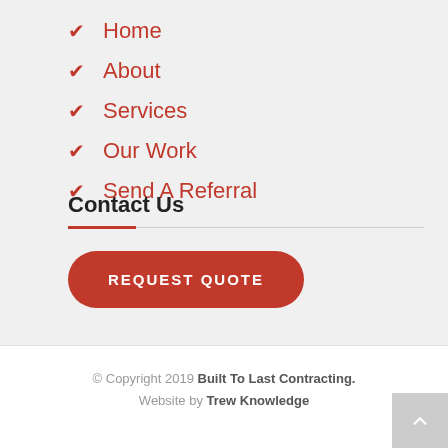Home
About
Services
Our Work
Send A Referral
Contact Us
REQUEST QUOTE
© Copyright 2019 Built To Last Contracting. Website by Trew Knowledge